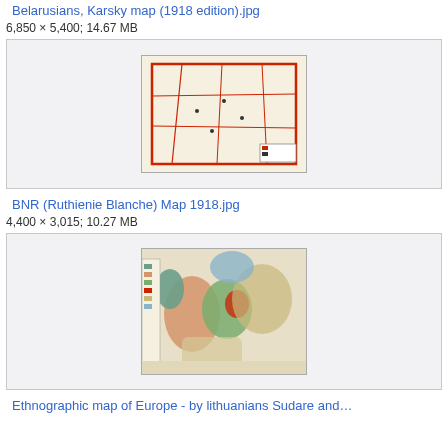Belarusians, Karsky map (1918 edition).jpg
6,850 × 5,400; 14.67 MB
[Figure (map): Karsky ethnographic map of Belarusians, 1918 edition, showing regional boundaries with red border lines on a white background with settlements marked.]
BNR (Ruthienie Blanche) Map 1918.jpg
4,400 × 3,015; 10.27 MB
[Figure (map): BNR (Ruthenie Blanche) 1918 map showing ethnographic map of Europe with colored regions, with legend on left side; colorful political/ethnographic map of Europe.]
Ethnographic map of Europe - by lithuanians Sudare and…